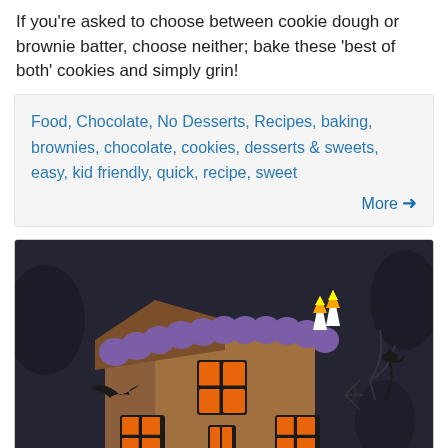If you're asked to choose between cookie dough or brownie batter, choose neither; bake these 'best of both' cookies and simply grin!
Food, Chocolate, No Desserts, Recipes, baking, brownies, chocolate, cookies, desserts & sweets, easy, kid friendly, quick, recipe, sweet
[Figure (photo): A decorated Halloween gingerbread haunted house cookie with purple frosting on the roof ridge, orange candy windows, black icing details of bats and spiders, and candy corn decorations, photographed on a dark background.]